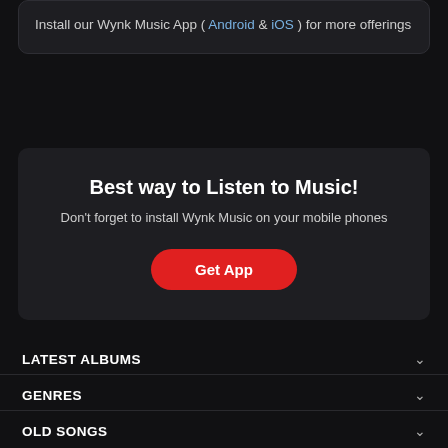Install our Wynk Music App ( Android & iOS ) for more offerings
Best way to Listen to Music!
Don't forget to install Wynk Music on your mobile phones
Get App
LATEST ALBUMS
GENRES
OLD SONGS